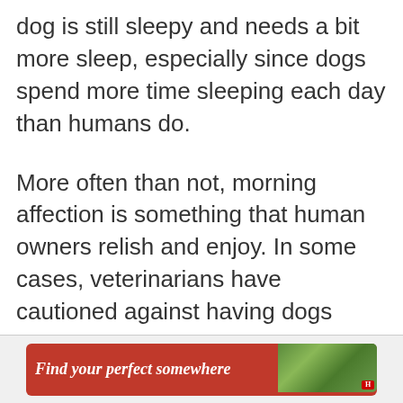dog is still sleepy and needs a bit more sleep, especially since dogs spend more time sleeping each day than humans do.
More often than not, morning affection is something that human owners relish and enjoy. In some cases, veterinarians have cautioned against having dogs sleep under the covers to prevent overheating. If you have a dog who enjoys sleeping under the covers, just be cautious about leaving the sheets loose enough so your dog can get out when he wants to.
[Figure (other): Advertisement banner with red background reading 'Find your perfect somewhere' with a nature/outdoor photo on the right side and ad controls (play and close buttons) in the top right corner.]